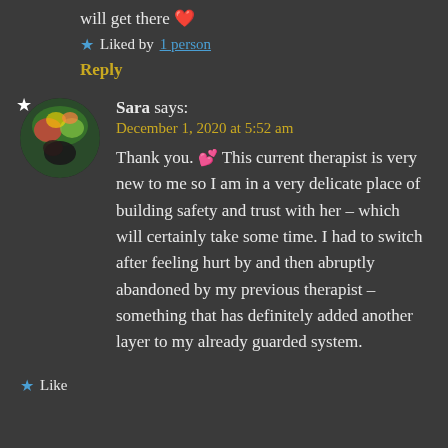will get there ❤
★ Liked by 1 person
Reply
Sara says:
December 1, 2020 at 5:52 am
Thank you. 💕 This current therapist is very new to me so I am in a very delicate place of building safety and trust with her – which will certainly take some time. I had to switch after feeling hurt by and then abruptly abandoned by my previous therapist – something that has definitely added another layer to my already guarded system.
★ Like